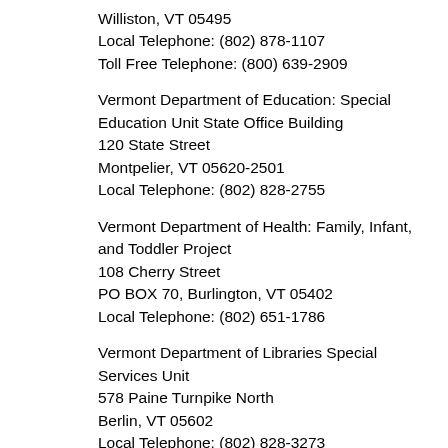Williston, VT 05495
Local Telephone: (802) 878-1107
Toll Free Telephone: (800) 639-2909
Vermont Department of Education: Special Education Unit State Office Building
120 State Street
Montpelier, VT 05620-2501
Local Telephone: (802) 828-2755
Vermont Department of Health: Family, Infant, and Toddler Project
108 Cherry Street
PO BOX 70, Burlington, VT 05402
Local Telephone: (802) 651-1786
Vermont Department of Libraries Special Services Unit
578 Paine Turnpike North
Berlin, VT 05602
Local Telephone: (802) 828-3273
Toll Free Telephone: (800) 479-1711